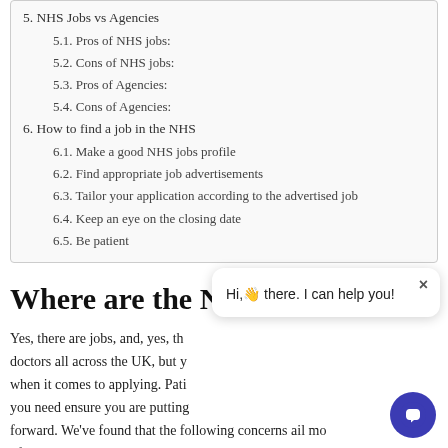5. NHS Jobs vs Agencies
5.1. Pros of NHS jobs:
5.2. Cons of NHS jobs:
5.3. Pros of Agencies:
5.4. Cons of Agencies:
6. How to find a job in the NHS
6.1. Make a good NHS jobs profile
6.2. Find appropriate job advertisements
6.3. Tailor your application according to the advertised job
6.4. Keep an eye on the closing date
6.5. Be patient
Where are the NHS jobs?
Yes, there are jobs, and, yes, th doctors all across the UK, but y when it comes to applying. Pati you need ensure you are putting forward. We’ve found that the following concerns ail mo of those applying: